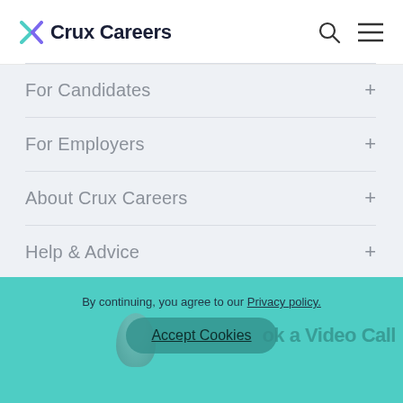Crux Careers
For Candidates
For Employers
About Crux Careers
Help & Advice
By continuing, you agree to our Privacy policy.
Accept Cookies
ok a Video Call